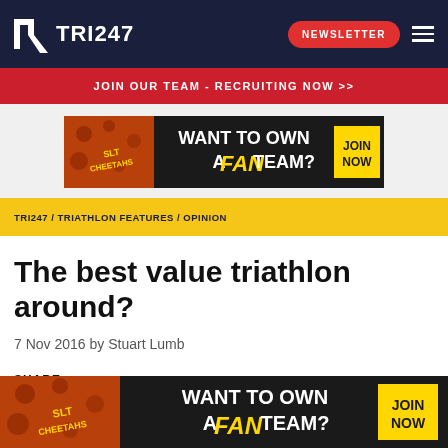TRI247
NEWSLETTER
JOIN OUR TEAM - RECRUITING NOW >>
[Figure (illustration): SLT Cheetahs advertisement banner: 'WANT TO OWN A FAN TEAM? JOIN NOW']
TRI247 / TRIATHLON FEATURES / OPINION
The best value triathlon around?
7 Nov 2016 by Stuart Lumb
SHARE
[Figure (illustration): SLT Cheetahs advertisement banner (bottom): 'WANT TO OWN A FAN TEAM? JOIN NOW']